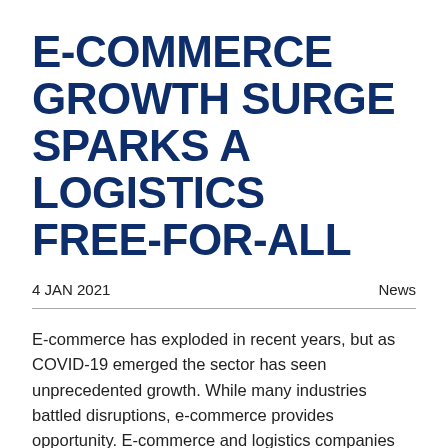E-COMMERCE GROWTH SURGE SPARKS A LOGISTICS FREE-FOR-ALL
4 JAN 2021	News
E-commerce has exploded in recent years, but as COVID-19 emerged the sector has seen unprecedented growth. While many industries battled disruptions, e-commerce provides opportunity. E-commerce and logistics companies are accelerating planned innovation and restructuring initiatives to stay ahead of the curve — if that's even possible — spurring the implementation of three to five